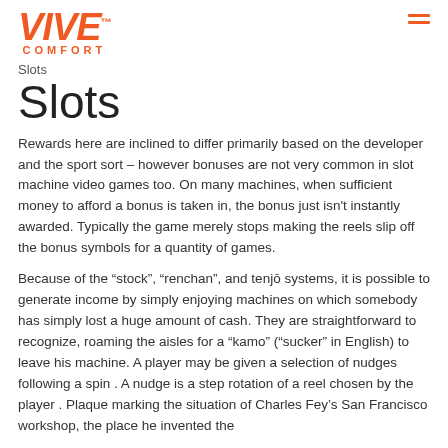VIVE COMFORT
Slots
Slots
Rewards here are inclined to differ primarily based on the developer and the sport sort – however bonuses are not very common in slot machine video games too. On many machines, when sufficient money to afford a bonus is taken in, the bonus just isn't instantly awarded. Typically the game merely stops making the reels slip off the bonus symbols for a quantity of games.
Because of the “stock”, “renchan”, and tenjō systems, it is possible to generate income by simply enjoying machines on which somebody has simply lost a huge amount of cash. They are straightforward to recognize, roaming the aisles for a “kamo” (“sucker” in English) to leave his machine. A player may be given a selection of nudges following a spin . A nudge is a step rotation of a reel chosen by the player . Plaque marking the situation of Charles Fey’s San Francisco workshop, the place he invented the